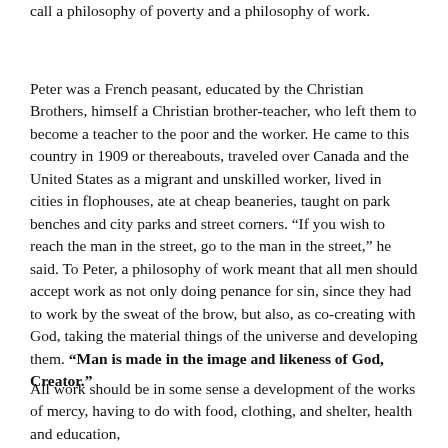call a philosophy of poverty and a philosophy of work.
Peter was a French peasant, educated by the Christian Brothers, himself a Christian brother-teacher, who left them to become a teacher to the poor and the worker. He came to this country in 1909 or thereabouts, traveled over Canada and the United States as a migrant and unskilled worker, lived in cities in flophouses, ate at cheap beaneries, taught on park benches and city parks and street corners. “If you wish to reach the man in the street, go to the man in the street,” he said. To Peter, a philosophy of work meant that all men should accept work as not only doing penance for sin, since they had to work by the sweat of the brow, but also, as co-creating with God, taking the material things of the universe and developing them. “Man is made in the image and likeness of God, Creator.”
All work should be in some sense a development of the works of mercy, having to do with food, clothing, and shelter, health and education,